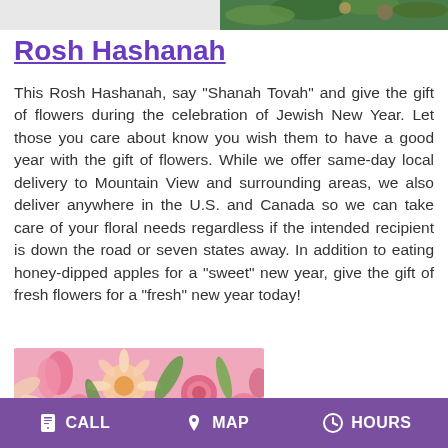[Figure (photo): Top portion of a photo showing flowers and foliage]
Rosh Hashanah
This Rosh Hashanah, say "Shanah Tovah" and give the gift of flowers during the celebration of Jewish New Year. Let those you care about know you wish them to have a good year with the gift of flowers. While we offer same-day local delivery to Mountain View and surrounding areas, we also deliver anywhere in the U.S. and Canada so we can take care of your floral needs regardless if the intended recipient is down the road or seven states away. In addition to eating honey-dipped apples for a "sweet" new year, give the gift of fresh flowers for a "fresh" new year today!
[Figure (photo): Photo of pink and peach flowers including tulips, gerbera daisy, and roses on a pink background]
CALL  MAP  HOURS